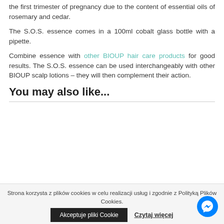the first trimester of pregnancy due to the content of essential oils of rosemary and cedar.
The S.O.S. essence comes in a 100ml cobalt glass bottle with a pipette.
Combine essence with other BIOUP hair care products for good results. The S.O.S. essence can be used interchangeably with other BIOUP scalp lotions – they will then complement their action.
You may also like...
Strona korzysta z plików cookies w celu realizacji usług i zgodnie z Polityką Plików Cookies.
Akceptuje pliki Cookie
Czytaj więcej